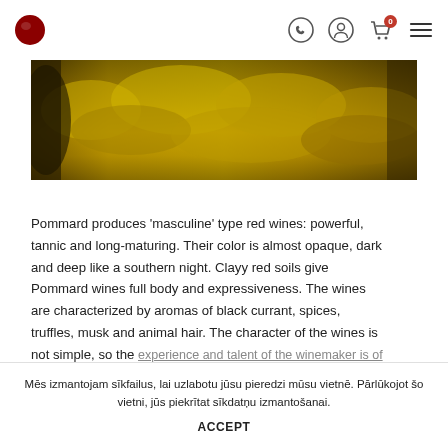Navigation bar with logo and icons (phone, account, cart, menu)
[Figure (photo): Aerial/wide view of an autumn vineyard with golden-yellow foliage covering rolling hillside]
Pommard produces 'masculine' type red wines: powerful, tannic and long-maturing. Their color is almost opaque, dark and deep like a southern night. Clayy red soils give Pommard wines full body and expressiveness. The wines are characterized by aromas of black currant, spices, truffles, musk and animal hair. The character of the wines is not simple, so the experience and talent of the winemaker is of great
Mēs izmantojam sīkfailus, lai uzlabotu jūsu pieredzi mūsu vietnē. Pārlūkojot šo vietni, jūs piekrītat sīkdatņu izmantošanai.
ACCEPT